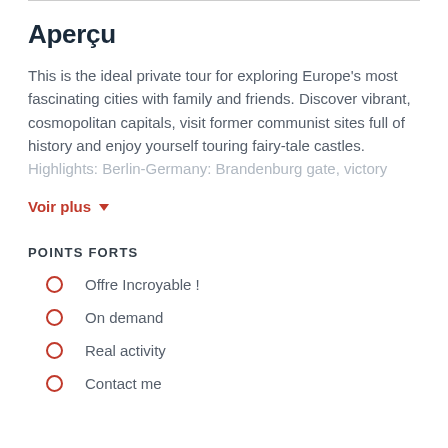Aperçu
This is the ideal private tour for exploring Europe's most fascinating cities with family and friends. Discover vibrant, cosmopolitan capitals, visit former communist sites full of history and enjoy yourself touring fairy-tale castles.
Highlights: Berlin-Germany: Brandenburg gate, victory
Voir plus ▾
POINTS FORTS
Offre Incroyable !
On demand
Real activity
Contact me